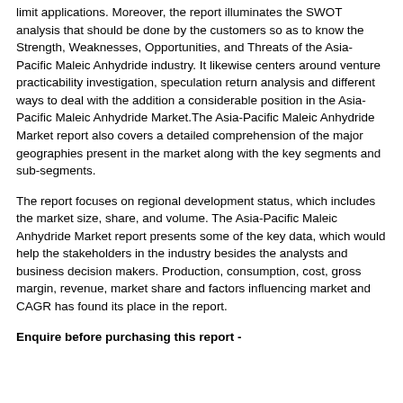limit applications. Moreover, the report illuminates the SWOT analysis that should be done by the customers so as to know the Strength, Weaknesses, Opportunities, and Threats of the Asia-Pacific Maleic Anhydride industry. It likewise centers around venture practicability investigation, speculation return analysis and different ways to deal with the addition a considerable position in the Asia-Pacific Maleic Anhydride Market.The Asia-Pacific Maleic Anhydride Market report also covers a detailed comprehension of the major geographies present in the market along with the key segments and sub-segments.
The report focuses on regional development status, which includes the market size, share, and volume. The Asia-Pacific Maleic Anhydride Market report presents some of the key data, which would help the stakeholders in the industry besides the analysts and business decision makers. Production, consumption, cost, gross margin, revenue, market share and factors influencing market and CAGR has found its place in the report.
Enquire before purchasing this report -